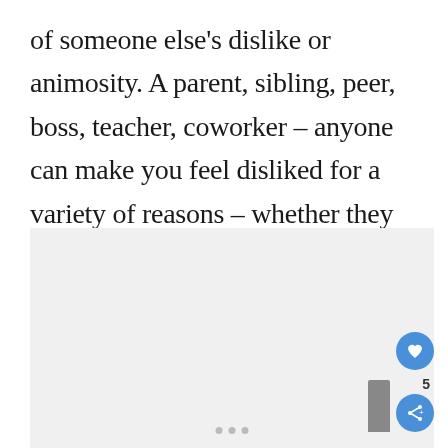of someone else's dislike or animosity. A parent, sibling, peer, boss, teacher, coworker – anyone can make you feel disliked for a variety of reasons – whether they mean to or not.
[Figure (screenshot): A light gray rectangular image placeholder area with a heart/like button (blue circle with heart icon), a share button (blue circle with share icon), a count label showing '5', and a gray bookmark tab on the right side. Small navigation dots appear at the bottom center.]